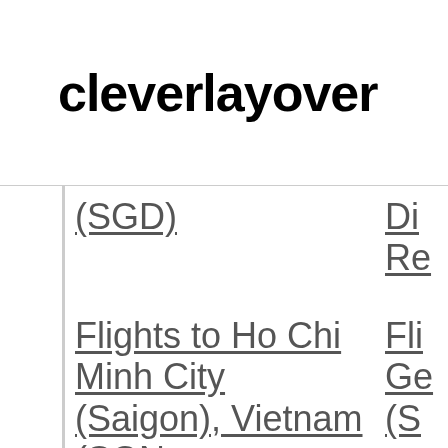cleverlayover
| (SGD) | Di Re |
| Flights to Ho Chi Minh City (Saigon), Vietnam (SGN- | Fli Ge (S |